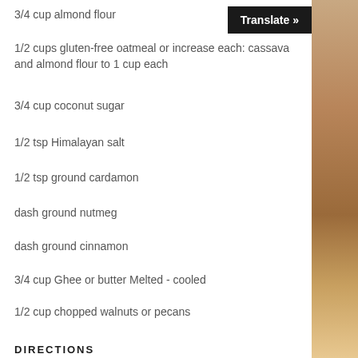3/4 cup almond flour
1/2 cups gluten-free oatmeal or increase each: cassava and almond flour to 1 cup each
3/4 cup coconut sugar
1/2 tsp Himalayan salt
1/2 tsp ground cardamon
dash ground nutmeg
dash ground cinnamon
3/4 cup Ghee or butter Melted - cooled
1/2 cup chopped walnuts or pecans
DIRECTIONS
STEP 1
Filling